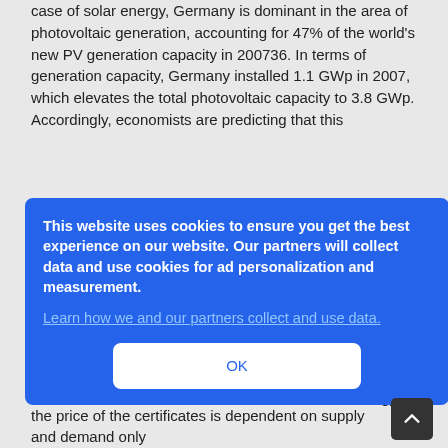case of solar energy, Germany is dominant in the area of photovoltaic generation, accounting for 47% of the world's new PV generation capacity in 200736. In terms of generation capacity, Germany installed 1.1 GWp in 2007, which elevates the total photovoltaic capacity to 3.8 GWp. Accordingly, economists are predicting that this
growth rate will have a high impact on other major markets such as Spain, Italy, France, Greece, Japan, and the US, particularly because the PV industry is expecting manufacturing costs to continue
[Figure (screenshot): Cookie consent dialog overlay with blue background. Text reads: 'This website uses cookies to ensure you get the best experience on our website. Our partners will collect data and use cookies for ad personalization and measurement.' followed by a link 'Learn how we and our partners collect and use data.' and an OK button.]
the price of the certificates is dependent on supply and demand only.